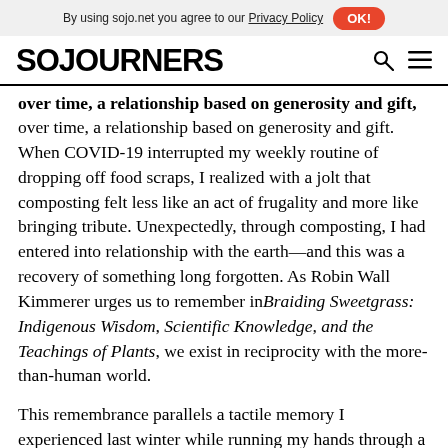By using sojo.net you agree to our Privacy Policy  OK!
SOJOURNERS
over time, a relationship based on generosity and gift. When COVID-19 interrupted my weekly routine of dropping off food scraps, I realized with a jolt that composting felt less like an act of frugality and more like bringing tribute. Unexpectedly, through composting, I had entered into relationship with the earth—and this was a recovery of something long forgotten. As Robin Wall Kimmerer urges us to remember in Braiding Sweetgrass: Indigenous Wisdom, Scientific Knowledge, and the Teachings of Plants, we exist in reciprocity with the more-than-human world.
This remembrance parallels a tactile memory I experienced last winter while running my hands through a bowl of dried black-eyed peas. The feel of the beans, almost like coins, merged with images of large,